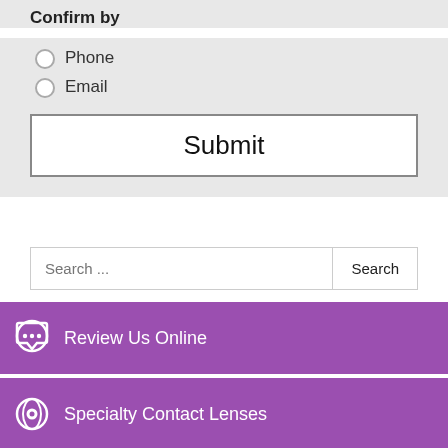Confirm by
Phone
Email
Submit
Search ...
Review Us Online
Specialty Contact Lenses
Schedule An Appointment
Customer Satisfaction Survey